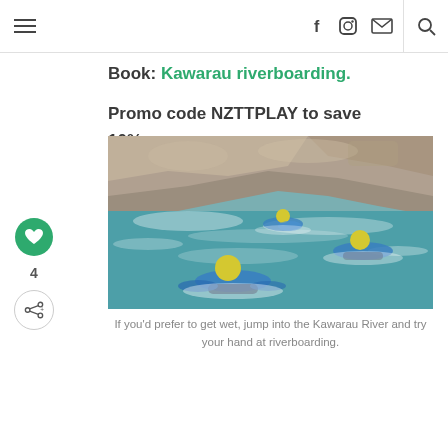Navigation bar with hamburger menu, social icons (Facebook, Instagram, Email), and search
Book: Kawarau riverboarding.
Promo code NZTTPLAY to save 10%.
[Figure (photo): Three people in wetsuits and yellow helmets riverboarding (lying on bodyboards) in the turquoise rapids of the Kawarau River, with rocky cliffs in the background.]
If you'd prefer to get wet, jump into the Kawarau River and try your hand at riverboarding.